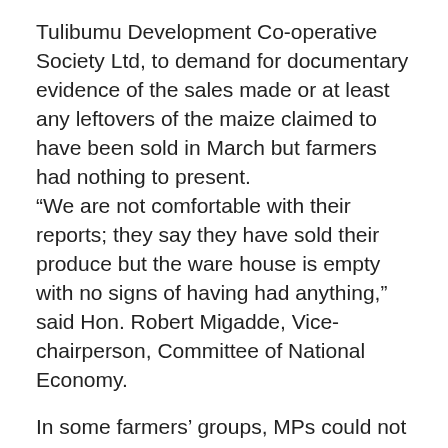Tulibumu Development Co-operative Society Ltd, to demand for documentary evidence of the sales made or at least any leftovers of the maize claimed to have been sold in March but farmers had nothing to present.
“We are not comfortable with their reports; they say they have sold their produce but the ware house is empty with no signs of having had anything,” said Hon. Robert Migadde, Vice-chairperson, Committee of National Economy.
In some farmers’ groups, MPs could not validate the reports on improved value addition as they discovered that a number of maize mills provided under the project have been left unutilised due to weak or no electricity connection.
“We have come across a number of groups which are actually not processing because they do not have power; this is a big problem which is affecting value addition.”